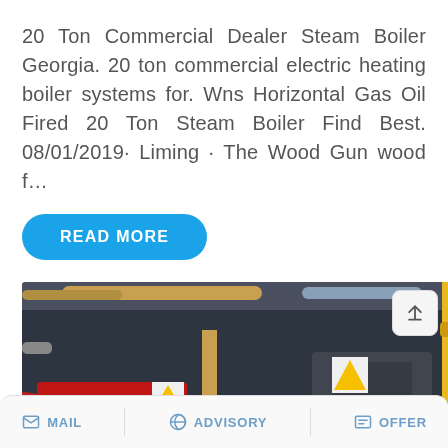20 Ton Commercial Dealer Steam Boiler Georgia. 20 ton commercial electric heating boiler systems for. Wns Horizontal Gas Oil Fired 20 Ton Steam Boiler Find Best. 08/01/2019· Liming · The Wood Gun wood f…
READ MORE
[Figure (photo): Industrial boiler room showing multiple large red and grey gas-fired steam boilers with yellow piping, warning labels, and control panels. A purple WhatsApp sticker-save bar overlays the bottom.]
MAIL   ADVISORY   OFFER